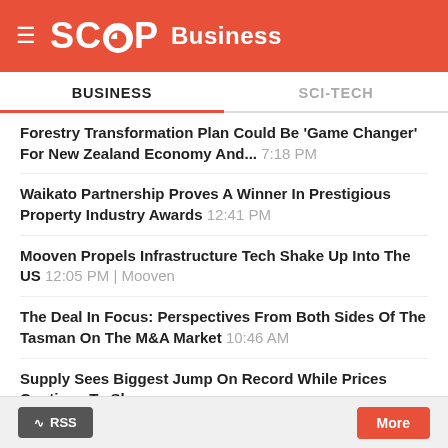SCOOP Business
BUSINESS | SCI-TECH
Forestry Transformation Plan Could Be 'Game Changer' For New Zealand Economy And... 7:18 PM
Waikato Partnership Proves A Winner In Prestigious Property Industry Awards 12:41 PM
Mooven Propels Infrastructure Tech Shake Up Into The US 12:05 PM | Mooven
The Deal In Focus: Perspectives From Both Sides Of The Tasman On The M&A Market 10:46 AM
Supply Sees Biggest Jump On Record While Prices Continue To Slump 10:45 AM | Trademe
CCL Launches Managed Microsoft 365 Offering For Today's Modern Workplaces 10:42 AM | CCL
My Wedding Guide Releases NZ's First Wedding App 10:23 AM | My Wedding Guide
RSS  More